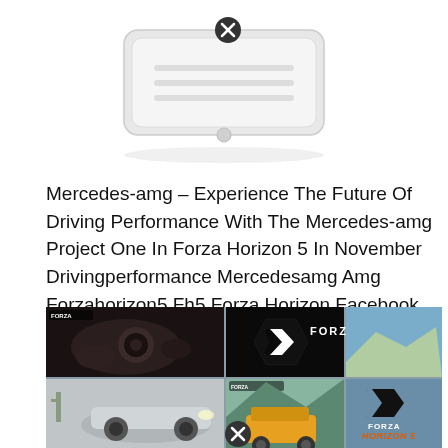[Figure (screenshot): A white device/hardware unit with a circular close button overlay on top]
Mercedes-amg – Experience The Future Of Driving Performance With The Mercedes-amg Project One In Forza Horizon 5 In November Drivingperformance Mercedesamg Amg Forzahorizon5 Fh5 Forza Horizon Facebook
[Figure (screenshot): A collage of Forza Horizon 5 game screenshots showing cars, landscapes, and the Forza Horizon 5 logo with a close button overlay at the bottom]